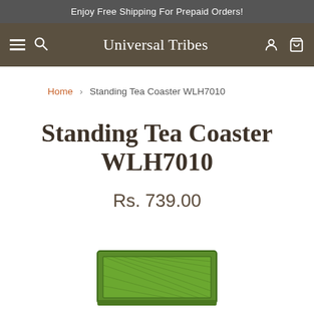Enjoy Free Shipping For Prepaid Orders!
Universal Tribes
Home > Standing Tea Coaster WLH7010
Standing Tea Coaster WLH7010
Rs. 739.00
[Figure (photo): Bottom portion of a green decorative Standing Tea Coaster WLH7010 product image, partially visible at the bottom of the page]